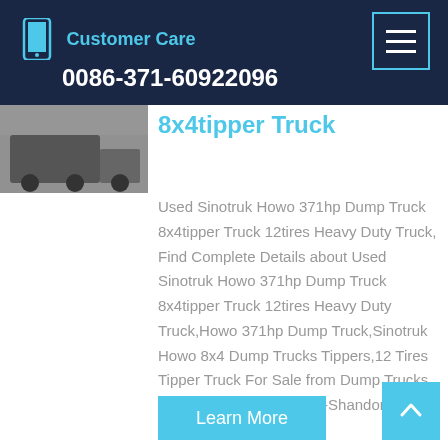Customer Care 0086-371-60922096
8x4tipper Truck
Used Sinotruk Howo 371hp Dump Truck 8x4tipper Truck 12tires Heavy Duty Truck, Find Complete Details about Used Sinotruk Howo 371hp Dump Truck 8x4tipper Truck 12tires Heavy Duty Truck,Howo 371hp Dump Truck,Sinotruk Howo 8x4 Dump Trucks Tippers,12 Tires Tipper Truck For Sale from Dump Trucks Supplier or Manufacturer-Shandong Aoheng Automobile ...
[Figure (photo): Partial image of a dump/tipper truck]
Learn More